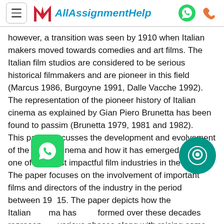AllAssignmentHelp
however, a transition was seen by 1910 when Italian makers moved towards comedies and art films. The Italian film studios are considered to be serious historical filmmakers and are pioneer in this field (Marcus 1986, Burgoyne 1991, Dalle Vacche 1992). The representation of the pioneer history of Italian cinema as explained by Gian Piero Brunetta has been found to passim (Brunetta 1979, 1981 and 1982). This paper discusses the development and evolvement of the Italian Cinema and how it has emerged to be one of the most impactful film industries in the world. The paper focuses on the involvement of important films and directors of the industry in the period between 19[...]15. The paper depicts how the Italian [ci]ma has [trans]formed over these decades represen[ting] various phases along with raising some intense questions on the social, cultural, and political and